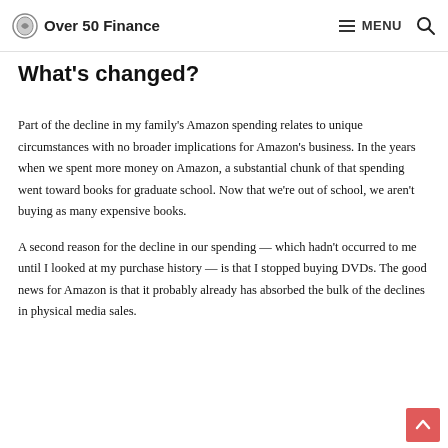Over 50 Finance | MENU
What's changed?
Part of the decline in my family's Amazon spending relates to unique circumstances with no broader implications for Amazon's business. In the years when we spent more money on Amazon, a substantial chunk of that spending went toward books for graduate school. Now that we're out of school, we aren't buying as many expensive books.
A second reason for the decline in our spending — which hadn't occurred to me until I looked at my purchase history — is that I stopped buying DVDs. The good news for Amazon is that it probably already has absorbed the bulk of the declines in physical media sales.